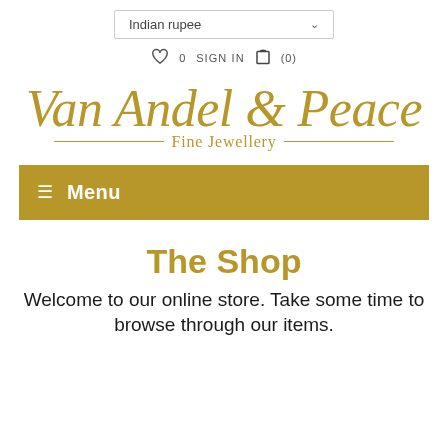Indian rupee | 0 SIGN IN (0)
[Figure (logo): Van Andel & Peace Fine Jewellery logo in gold italic script with decorative lines]
≡ Menu
The Shop
Welcome to our online store. Take some time to browse through our items.